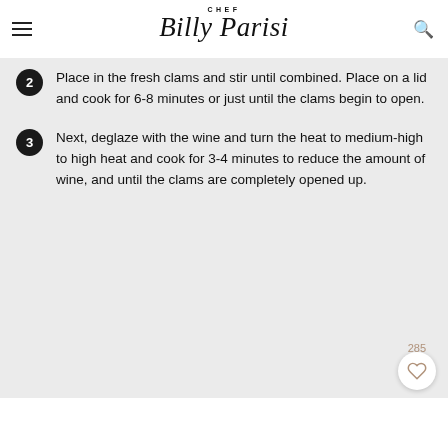CHEF Billy Parisi
2 — Place in the fresh clams and stir until combined. Place on a lid and cook for 6-8 minutes or just until the clams begin to open.
3 — Next, deglaze with the wine and turn the heat to medium-high to high heat and cook for 3-4 minutes to reduce the amount of wine, and until the clams are completely opened up.
285